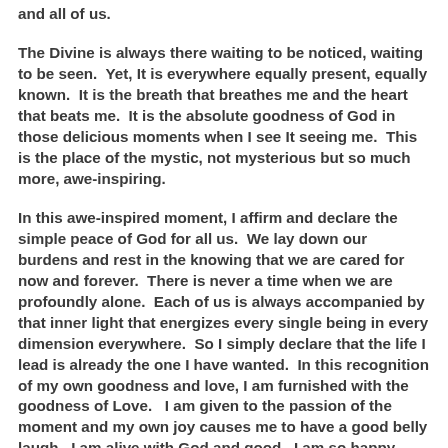and all of us.
The Divine is always there waiting to be noticed, waiting to be seen.  Yet, It is everywhere equally present, equally known.  It is the breath that breathes me and the heart that beats me.  It is the absolute goodness of God in those delicious moments when I see It seeing me.  This is the place of the mystic, not mysterious but so much more, awe-inspiring.
In this awe-inspired moment, I affirm and declare the simple peace of God for all us.  We lay down our burdens and rest in the knowing that we are cared for now and forever.  There is never a time when we are profoundly alone.  Each of us is always accompanied by that inner light that energizes every single being in every dimension everywhere.  So I simply declare that the life I lead is already the one I have wanted.  In this recognition of my own goodness and love, I am furnished with the goodness of Love.   I am given to the passion of the moment and my own joy causes me to have a good belly laugh.  I am alive with God and good.  I am so happy about this.  I love it now and forever and always.
I am so grateful for this joy and recognition.  I am so